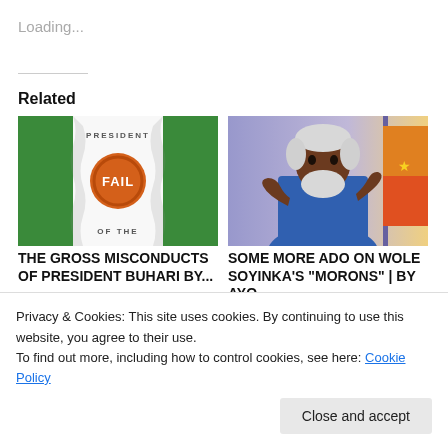Loading...
Related
[Figure (illustration): Book cover image for 'The Gross Misconducts of President Buhari' — white background with Nigerian flag green panels and orange 'FAIL' stamp circle, text reads PRESIDENT at top and OF THE at bottom]
THE GROSS MISCONDUCTS OF PRESIDENT BUHARI by...
[Figure (photo): Photo of elderly Black man with white hair and beard, wearing blue garment, gesturing with hands, another person visible to the right in colorful clothing]
SOME MORE ADO ON WOLE SOYINKA'S "MORONS" | by Ayo...
Privacy & Cookies: This site uses cookies. By continuing to use this website, you agree to their use.
To find out more, including how to control cookies, see here: Cookie Policy
Close and accept